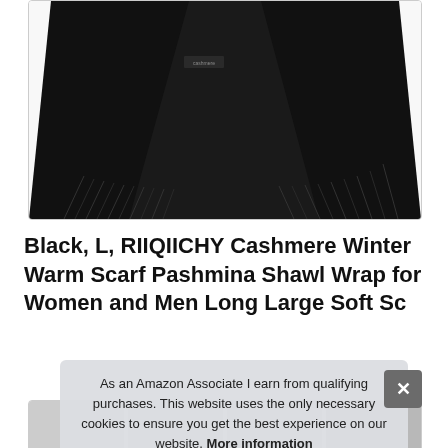[Figure (photo): Photo of a black cashmere shawl/scarf with fringe, worn by a person, shown against a white background]
Black, L, RIIQIICHY Cashmere Winter Warm Scarf Pashmina Shawl Wrap for Women and Men Long Large Soft Sc
[Figure (photo): Thumbnail strip of product photos showing the shawl in various views]
As an Amazon Associate I earn from qualifying purchases. This website uses the only necessary cookies to ensure you get the best experience on our website. More information